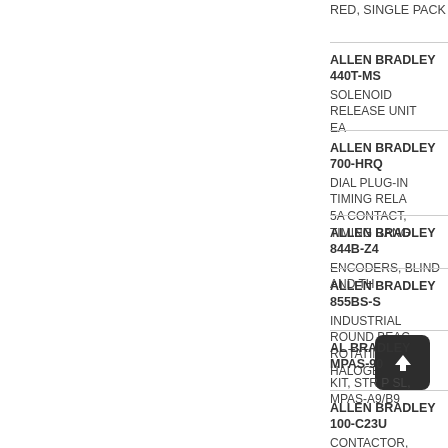RED, SINGLE PACK
ALLEN BRADLEY 440T-MS - SOLENOID RELEASE UNIT EA
ALLEN BRADLEY 700-HRQ - DIAL PLUG-IN TIMING RELAY, 5A CONTACT, TIMING RANGE
ALLEN BRADLEY 844B-Z4 - ENCODERS, BLIND AND TH
ALLEN BRADLEY 855BS-S - INDUSTRIAL ROUND BEACON ROTATING HALOGEN, AMB
ALLEN BRADLEY MPAS-90 - KIT, STRAP SL, MPAS-A9/B9
ALLEN BRADLEY 100-C23U - CONTACTOR, SCREW TERMINAL AT LOAD SIDE, CONTROL V 20 PCS.